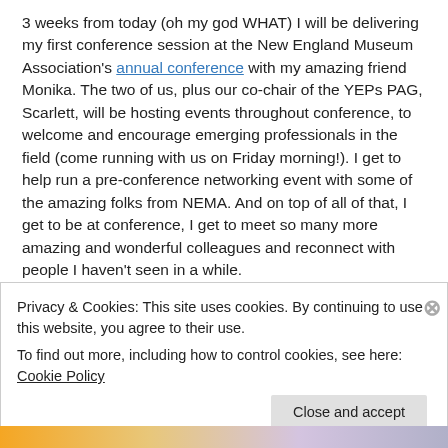3 weeks from today (oh my god WHAT) I will be delivering my first conference session at the New England Museum Association's annual conference with my amazing friend Monika. The two of us, plus our co-chair of the YEPs PAG, Scarlett, will be hosting events throughout conference, to welcome and encourage emerging professionals in the field (come running with us on Friday morning!). I get to help run a pre-conference networking event with some of the amazing folks from NEMA. And on top of all of that, I get to be at conference, I get to meet so many more amazing and wonderful colleagues and reconnect with people I haven't seen in a while.
Privacy & Cookies: This site uses cookies. By continuing to use this website, you agree to their use.
To find out more, including how to control cookies, see here: Cookie Policy
Close and accept